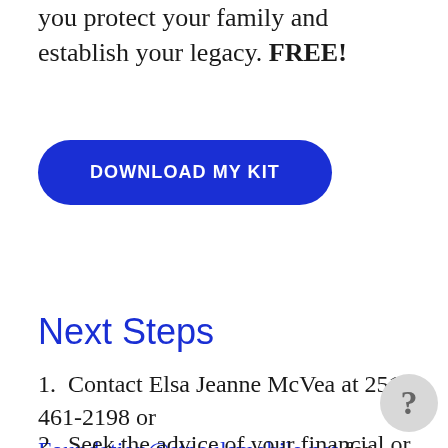you protect your family and establish your legacy. FREE!
[Figure (other): Blue rounded rectangle button with white uppercase text reading DOWNLOAD MY KIT]
Next Steps
1. Contact Elsa Jeanne McVea at 251-461-2198 or Foundation@stpaulsmobile.net for additional information on creating a memorial gift at St. Paul's Foundation
2. Seek the advice of your financial or legal